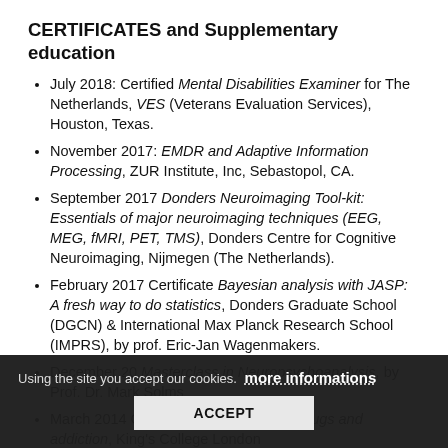CERTIFICATES and Supplementary education
July 2018: Certified Mental Disabilities Examiner for The Netherlands, VES (Veterans Evaluation Services), Houston, Texas.
November 2017: EMDR and Adaptive Information Processing, ZUR Institute, Inc, Sebastopol, CA.
September 2017 Donders Neuroimaging Tool-kit: Essentials of major neuroimaging techniques (EEG, MEG, fMRI, PET, TMS), Donders Centre for Cognitive Neuroimaging, Nijmegen (The Netherlands).
February 2017 Certificate Bayesian analysis with JASP: A fresh way to do statistics, Donders Graduate School (DGCN) & International Max Planck Research School (IMPRS), by prof. Eric-Jan Wagenmakers.
December 20[...] Masterclass in Neuropsychoanalysis, by Prof. Dr. Mark Solms
March 2014 Certificate Understanding drugs and addiction, King's College London